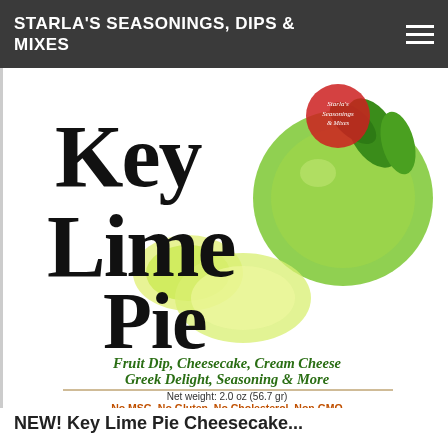STARLA'S SEASONINGS, DIPS & MIXES
[Figure (illustration): Key Lime Pie product label showing 'Key Lime Pie' in large decorative font with lime fruit imagery. Subtitle: 'Fruit Dip, Cheesecake, Cream Cheese Greek Delight, Seasoning & More'. Net weight: 2.0 oz (56.7 gr). No MSG, No Gluten, No Cholesterol, Non GMO, No Trans Fat & No Salt Added.]
NEW! Key Lime Pie Cheesecake...